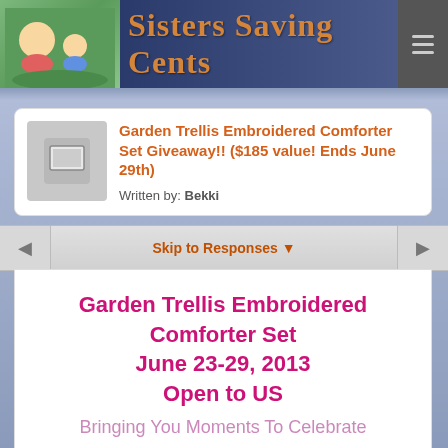Sisters Saving Cents
Garden Trellis Embroidered Comforter Set Giveaway!! ($185 value! Ends June 29th)
Written by: Bekki
Skip to Responses ▼
Garden Trellis Embroidered Comforter Set
June 23-29, 2013
Open to US
Bringing You Moments To Celebrate